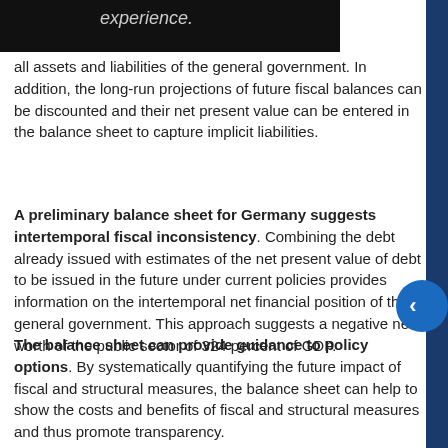experience.
fi n
all assets and liabilities of the general government. In addition, the long-run projections of future fiscal balances can be discounted and their net present value can be entered in the balance sheet to capture implicit liabilities.
A preliminary balance sheet for Germany suggests intertemporal fiscal inconsistency. Combining the debt already issued with estimates of the net present value of debt to be issued in the future under current policies provides information on the intertemporal net financial position of the general government. This approach suggests a negative net worth of the public sector of 324 percent of GDP.
The balance sheet can provide guidance to policy options. By systematically quantifying the future impact of fiscal and structural measures, the balance sheet can help to show the costs and benefits of fiscal and structural measures and thus promote transparency.